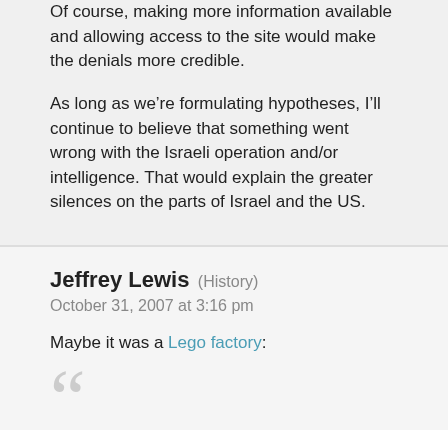Of course, making more information available and allowing access to the site would make the denials more credible.
As long as we’re formulating hypotheses, I’ll continue to believe that something went wrong with the Israeli operation and/or intelligence. That would explain the greater silences on the parts of Israel and the US.
Jeffrey Lewis (History)
October 31, 2007 at 3:16 pm
Maybe it was a Lego factory: